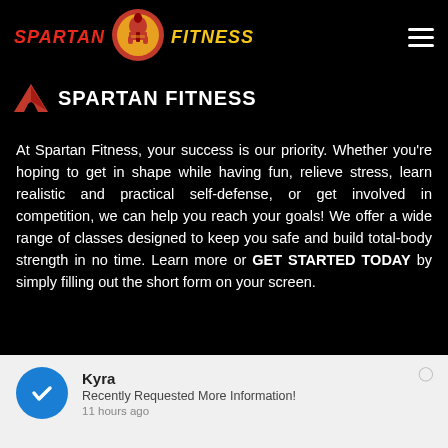[Figure (logo): Spartan Fitness logo with red text SPARTAN on left, golden text FITNESS on right, and circular orange/red emblem with spartan helmet in the center]
SPARTAN FITNESS
At Spartan Fitness, your success is our priority. Whether you're hoping to get in shape while having fun, relieve stress, learn realistic and practical self-defense, or get involved in competition, we can help you reach your goals! We offer a wide range of classes designed to keep you safe and build total-body strength in no time. Learn more or GET STARTED TODAY by simply filling out the short form on your screen.
Kyra
Recently Requested More Information!
11 hours ago